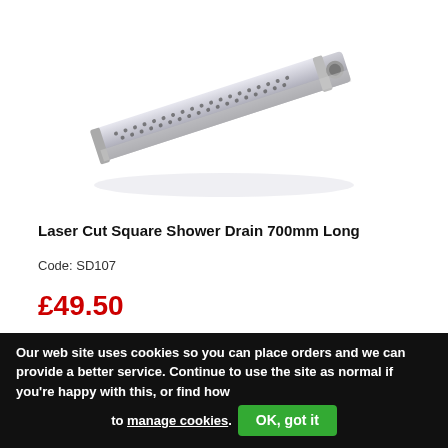[Figure (photo): A stainless steel laser cut square linear shower drain, approximately 700mm long, shown at an angle on a white background]
Laser Cut Square Shower Drain 700mm Long
Code: SD107
£49.50
£59.40 Inc. VAT
Our web site uses cookies so you can place orders and we can provide a better service. Continue to use the site as normal if you're happy with this, or find how to manage cookies.